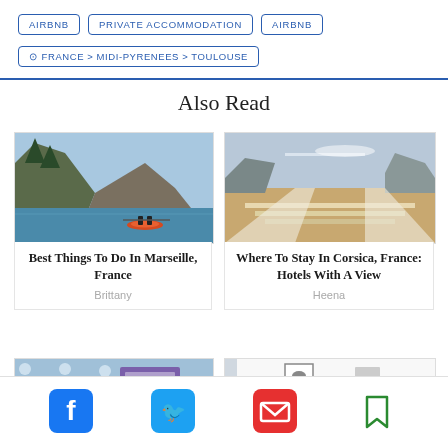AIRBNB
PRIVATE ACCOMMODATION
AIRBNB
⊙ FRANCE > MIDI-PYRENEES > TOULOUSE
Also Read
[Figure (photo): Kayakers paddling through a narrow rocky gorge with turquoise water]
Best Things To Do In Marseille, France
Brittany
[Figure (photo): Aerial view of rocky coastline with sandy beach and clear water, steps visible]
Where To Stay In Corsica, France: Hotels With A View
Heena
[Figure (photo): Decorative blue and white pattern fabric/wallpaper with a purple card]
[Figure (photo): White hotel room interior with framed butterfly art and a wall-mounted figurine]